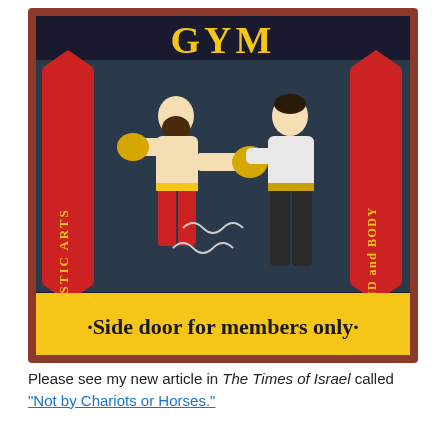[Figure (photo): A vintage-style framed boxing gym sign/painting showing two boxers in a ring. Text on the sign reads 'GYM' at the top in yellow, vertical red banners on left reading 'PUGILISTIC ARTS' and right reading 'FOR MIND and BODY', and a yellow banner at the bottom reading '·Side door for members only·'. The frame is dark red/mahogany.]
Please see my new article in The Times of Israel called "Not by Chariots or Horses."